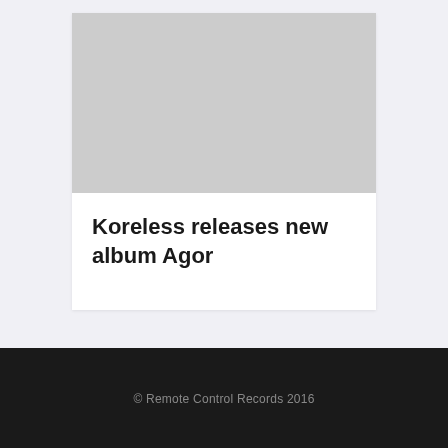[Figure (photo): Light grey rectangular image placeholder, representing an album cover or promotional image for Koreless.]
Koreless releases new album Agor
© Remote Control Records 2016